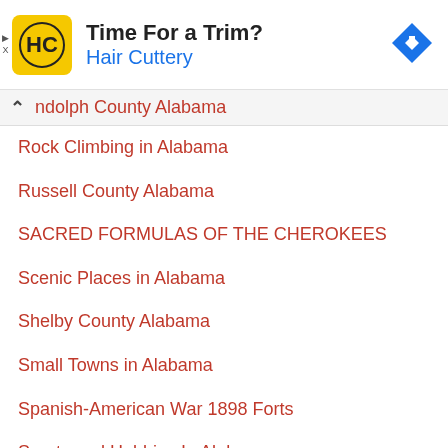[Figure (other): Hair Cuttery advertisement banner with logo, text 'Time For a Trim?' and 'Hair Cuttery', and a blue navigation arrow icon]
Randolph County Alabama
Rock Climbing in Alabama
Russell County Alabama
SACRED FORMULAS OF THE CHEROKEES
Scenic Places in Alabama
Shelby County Alabama
Small Towns in Alabama
Spanish-American War 1898 Forts
Sports and Hobbies In Alabama
St. Clair County Alabama